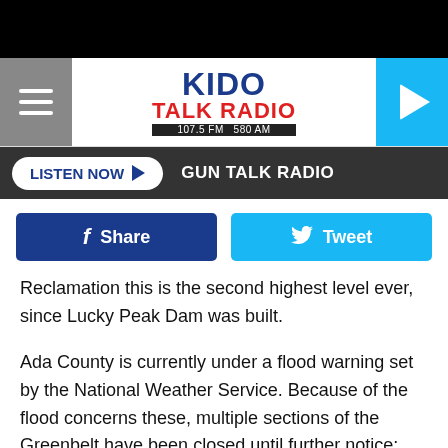KIDO Talk Radio 107.5 FM 580 AM
LISTEN NOW ▶  GUN TALK RADIO
[Figure (screenshot): Facebook Share button and Twitter Tweet button]
Reclamation this is the second highest level ever, since Lucky Peak Dam was built.
Ada County is currently under a flood warning set by the National Weather Service. Because of the flood concerns these, multiple sections of the Greenbelt have been closed until further notice:
The tunnel under 9th Street: you will be re-routed